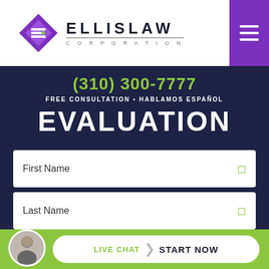[Figure (logo): Ellis Law Corporation logo with purple diamond/E icon and bold ELLISLAW text with CORPORATION below]
(310) 300-7777
FREE CONSULTATION • HABLAMOS ESPAÑOL
EVALUATION
First Name
Last Name
Em...
LIVE CHAT | START NOW